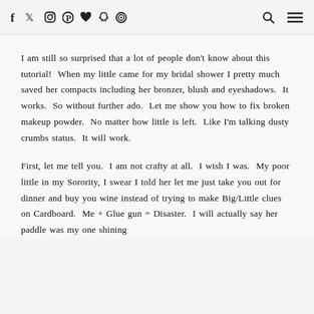f ✓ ◎ ⊕ ♥ ✦ ⊙  🔍  ≡
I am still so surprised that a lot of people don't know about this tutorial!  When my little came for my bridal shower I pretty much saved her compacts including her bronzer, blush and eyeshadows.  It works.  So without further ado.  Let me show you how to fix broken makeup powder.  No matter how little is left.  Like I'm talking dusty crumbs status.  It will work.
First, let me tell you.  I am not crafty at all.  I wish I was.  My poor little in my Sorority, I swear I told her let me just take you out for dinner and buy you wine instead of trying to make Big/Little clues on Cardboard.  Me + Glue gun = Disaster.  I will actually say her paddle was my one shining